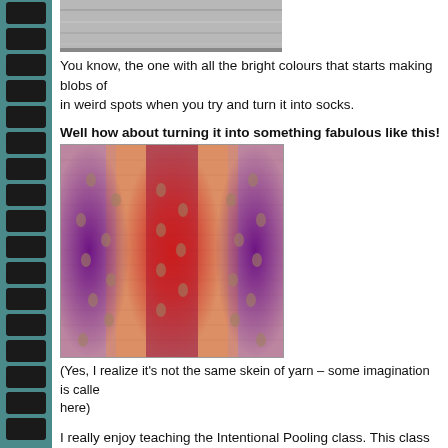[Figure (photo): Gray wooden surface photo, partially visible at top]
You know, the one with all the bright colours that starts making blobs of in weird spots when you try and turn it into socks.
Well how about turning it into something fabulous like this!
[Figure (photo): Colorful knitted lace fabric showing intentional pooling with red, orange, purple, and pink colors in a striking vertical stripe pattern]
(Yes, I realize it's not the same skein of yarn – some imagination is calle here)
I really enjoy teaching the Intentional Pooling class. This class teaches to assess the colours in your yarn and line them up to create vertical str utilizing the natural pooling effects of the yarn and leave with the start o